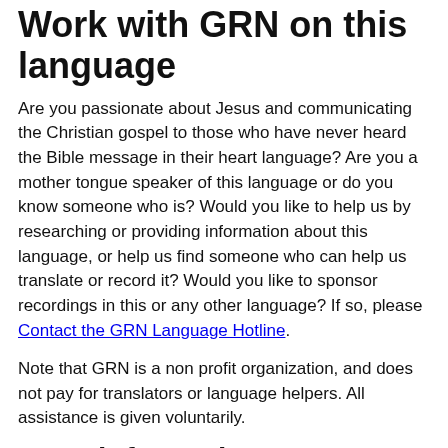Work with GRN on this language
Are you passionate about Jesus and communicating the Christian gospel to those who have never heard the Bible message in their heart language? Are you a mother tongue speaker of this language or do you know someone who is? Would you like to help us by researching or providing information about this language, or help us find someone who can help us translate or record it? Would you like to sponsor recordings in this or any other language? If so, please Contact the GRN Language Hotline.
Note that GRN is a non profit organization, and does not pay for translators or language helpers. All assistance is given voluntarily.
More information
Get further details about this language from The Ethnologue and MultiTree.